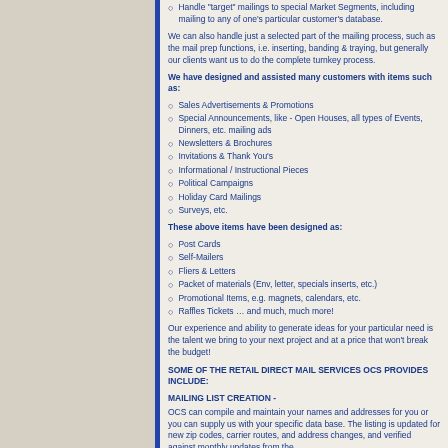Handle "target" mailings to special Market Segments, including mailing to any of one's particular customer's database.
We can also handle just a selected part of the mailing process, such as the mail prep functions, i.e. inserting, banding & traying, but generally our clients want us to do the complete turnkey process.
We have designed and assisted many customers with items such as:
Sales Advertisements & Promotions
Special Announcements, like - Open Houses, all types of Events, Dinners, etc. mailing ads
Newsletters & Brochures
Invitations & Thank You's
Informational / Instructional Pieces
Political Campaigns
Holiday Card Mailings
Surveys, etc.
These above items have been designed as:
Post Cards
Self-Mailers
Fliers & Letters
Packet of materials (Env, letter, specials inserts, etc.)
Promotional Items, e.g. magnets, calendars, etc.
Raffles Tickets … and much, much more!
Our experience and ability to generate ideas for your particular need is the talent we bring to your next project and at a price that won't break the budget!
SOME OF THE RETAIL DIRECT MAIL SERVICES OCS PROVIDES INCLUDE:
MAILING LIST CREATION -
OCS can compile and maintain your names and addresses for you or you can supply us with your specific data base. The listing is updated for new zip codes, carrier routes, and address changes, and verified against monthly updates from the